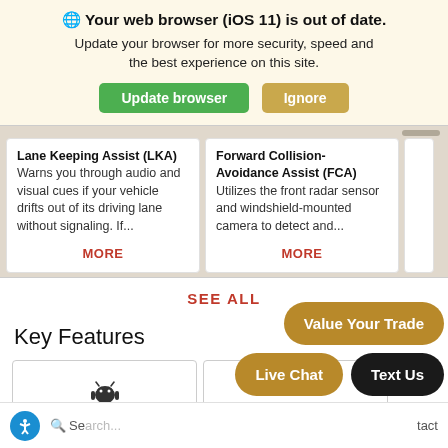🌐 Your web browser (iOS 11) is out of date. Update your browser for more security, speed and the best experience on this site.
Lane Keeping Assist (LKA) Warns you through audio and visual cues if your vehicle drifts out of its driving lane without signaling. If...
Forward Collision-Avoidance Assist (FCA) Utilizes the front radar sensor and windshield-mounted camera to detect and...
SEE ALL
Key Features
Value Your Trade
Live Chat
Text Us